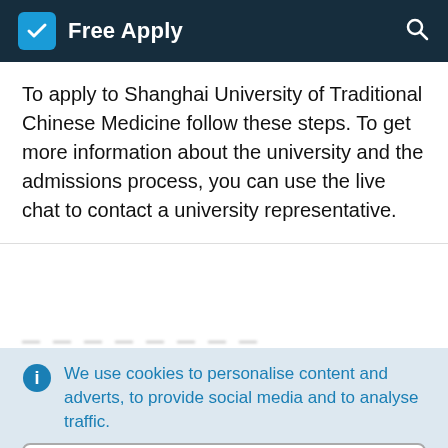Free Apply
To apply to Shanghai University of Traditional Chinese Medicine follow these steps. To get more information about the university and the admissions process, you can use the live chat to contact a university representative.
We use cookies to personalise content and adverts, to provide social media and to analyse traffic.
Learn more
Accept